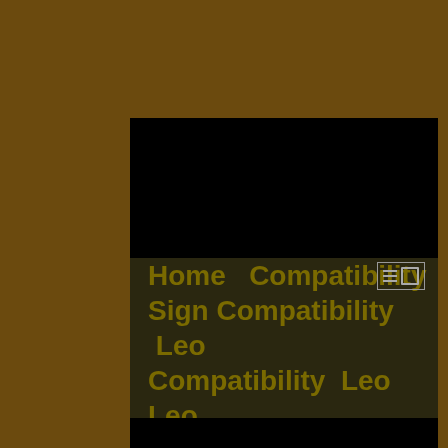Home   Compatibility  Sign Compatibility  Leo Compatibility  Leo Leo Man With Aquarius Woman